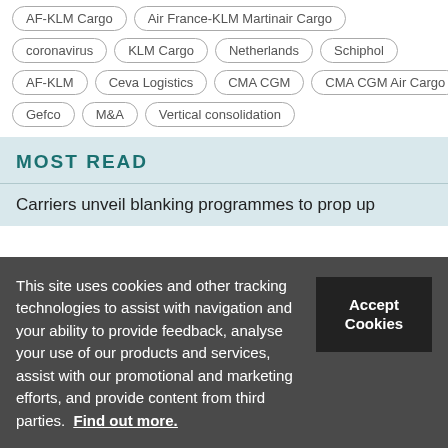AF-KLM Cargo
Air France-KLM Martinair Cargo
coronavirus
KLM Cargo
Netherlands
Schiphol
AF-KLM
Ceva Logistics
CMA CGM
CMA CGM Air Cargo
Gefco
M&A
Vertical consolidation
MOST READ
Carriers unveil blanking programmes to prop up
This site uses cookies and other tracking technologies to assist with navigation and your ability to provide feedback, analyse your use of our products and services, assist with our promotional and marketing efforts, and provide content from third parties. Find out more.